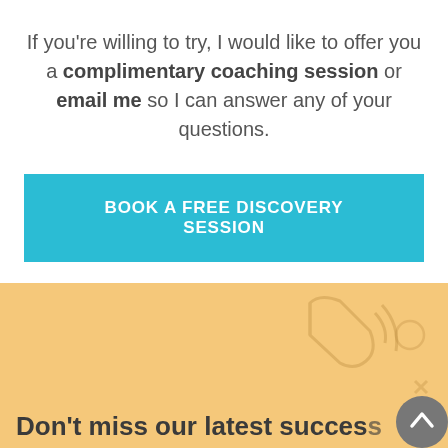If you're willing to try, I would like to offer you a complimentary coaching session or email me so I can answer any of your questions.
BOOK A FREE DISCOVERY SESSION
Don't miss our latest success secrets